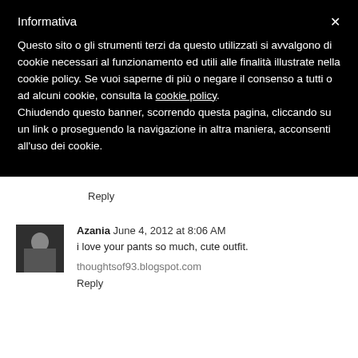Informativa
Questo sito o gli strumenti terzi da questo utilizzati si avvalgono di cookie necessari al funzionamento ed utili alle finalità illustrate nella cookie policy. Se vuoi saperne di più o negare il consenso a tutti o ad alcuni cookie, consulta la cookie policy. Chiudendo questo banner, scorrendo questa pagina, cliccando su un link o proseguendo la navigazione in altra maniera, acconsenti all'uso dei cookie.
Reply
Azania  June 4, 2012 at 8:06 AM
i love your pants so much, cute outfit.
thoughtsof93.blogspot.com
Reply